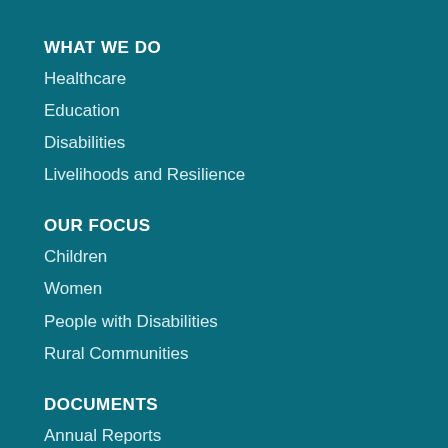WHAT WE DO
Healthcare
Education
Disabilities
Livelihoods and Resilience
OUR FOCUS
Children
Women
People with Disabilities
Rural Communities
DOCUMENTS
Annual Reports